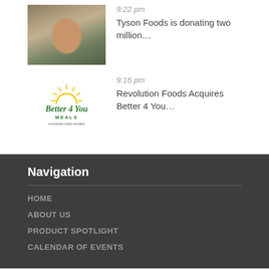[Figure (photo): Thumbnail photo of a young man smiling, used as news article image]
9:22 pm
Tyson Foods is donating two million…
[Figure (logo): Better 4 You Meals logo with sun graphic and Revolution Foods tagline]
9:16 pm
Revolution Foods Acquires Better 4 You…
Navigation
HOME
ABOUT US
PRODUCT SPOTLIGHT
CALENDAR OF EVENTS